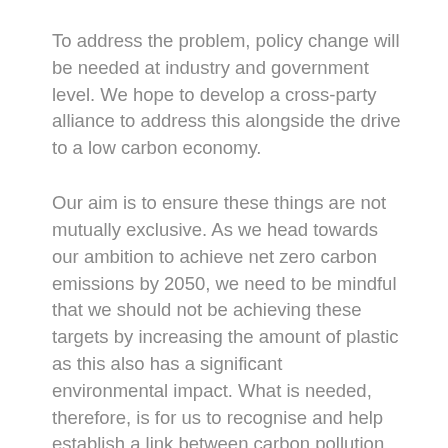To address the problem, policy change will be needed at industry and government level. We hope to develop a cross-party alliance to address this alongside the drive to a low carbon economy.
Our aim is to ensure these things are not mutually exclusive. As we head towards our ambition to achieve net zero carbon emissions by 2050, we need to be mindful that we should not be achieving these targets by increasing the amount of plastic as this also has a significant environmental impact. What is needed, therefore, is for us to recognise and help establish a link between carbon pollution and plastic pollution.
Further details of relevant law and legislation in place to address both issues have been presented to us. What is